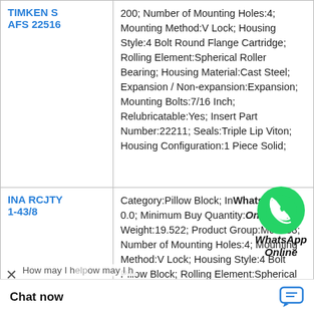| Product | Specifications |
| --- | --- |
| TIMKEN S AFS 22516 | 200; Number of Mounting Holes:4; Mounting Method:V Lock; Housing Style:4 Bolt Round Flange Cartridge; Rolling Element:Spherical Roller Bearing; Housing Material:Cast Steel; Expansion / Non-expansion:Expansion; Mounting Bolts:7/16 Inch; Relubricatable:Yes; Insert Part Number:22211; Seals:Triple Lip Viton; Housing Configuration:1 Piece Solid; |
| INA RCJTY 1-43/8 | Category:Pillow Block; Inventory:0.0; Minimum Buy Quantity:Weight:19.522; Product Group:M06288; Number of Mounting Holes:4; Mounting Method:V Lock; Housing Style:4 Bolt Pillow Block; Rolling Element:Spherical Roller Bearing; Housing Material:Cast Steel; Expansion / Non-expansion:Expansion / Bolts:20 Millimeter; es; Insert Part Nu |
[Figure (logo): WhatsApp icon (green circle with phone) with text 'WhatsApp Online']
Chat now
How may I help you?